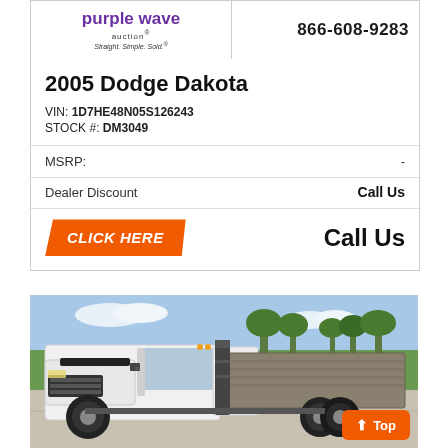[Figure (logo): Purple Wave auction logo with tagline 'Straight. Simple. Sold.']
866-608-9283
2005 Dodge Dakota
VIN: 1D7HE48N05S126243
STOCK #: DM3049
MSRP: -
Dealer Discount  Call Us
CLICK HERE  Call Us
[Figure (photo): White Ford F-350 flatbed/stake truck parked in a lot with rural background. Orange 'Top' button overlay in bottom right corner.]